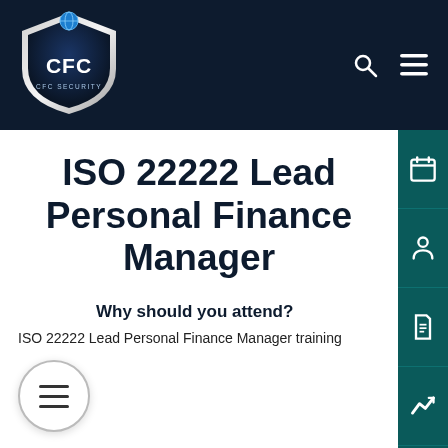[Figure (logo): CFC shield logo with blue globe on top, dark navy background, silver trim, text 'CFC' in white bold letters, 'CFC Security' below]
ISO 22222 Lead Personal Finance Manager
Why should you attend?
ISO 22222 Lead Personal Finance Manager training